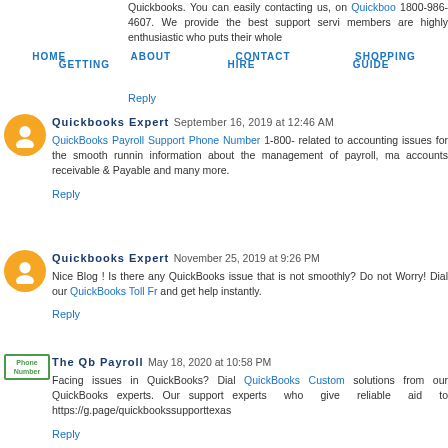Quickbooks. You can easily contacting us, on Quickbooks 1800-986-4607. We provide the best support service members are highly enthusiastic who puts their whole
Reply
HOME  ABOUT  CONTACT  GETTING GUIDE  HIRE  SHOPPING
Quickbooks Expert September 16, 2019 at 12:46 AM
QuickBooks Payroll Support Phone Number 1-800- related to accounting issues for the smooth running information about the management of payroll, ma accounts receivable & Payable and many more.
Reply
Quickbooks Expert November 25, 2019 at 9:26 PM
Nice Blog ! Is there any QuickBooks issue that is not smoothly? Do not Worry! Dial our QuickBooks Toll Fr and get help instantly.
Reply
The Qb Payroll May 18, 2020 at 10:58 PM
Facing issues in QuickBooks? Dial QuickBooks Custom solutions from our QuickBooks experts. Our support experts who give reliable aid to https://g.page/quickbookssupporttexas
Reply